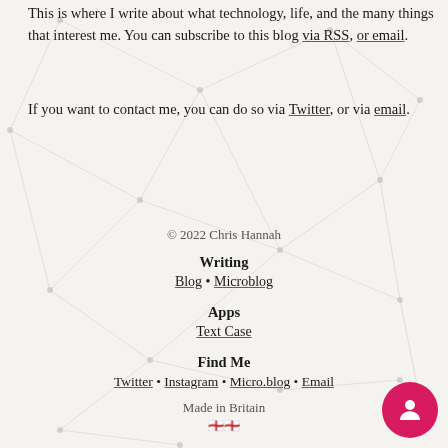This is where I write about what technology, life, and the many things that interest me. You can subscribe to this blog via RSS, or email.
If you want to contact me, you can do so via Twitter, or via email.
© 2022 Chris Hannah
Writing
Blog • Microblog
Apps
Text Case
Find Me
Twitter • Instagram • Micro.blog • Email
Made in Britain 🏴󠁧󠁢󠁥󠁮󠁧󠁿🏴󠁧󠁢󠁥󠁮󠁧󠁿